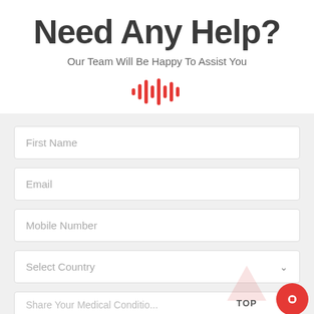Need Any Help?
Our Team Will Be Happy To Assist You
[Figure (other): Red audio waveform / equalizer icon consisting of vertical bars of varying heights]
First Name
Email
Mobile Number
Select Country
Share Your Medical Condition And Treatment...